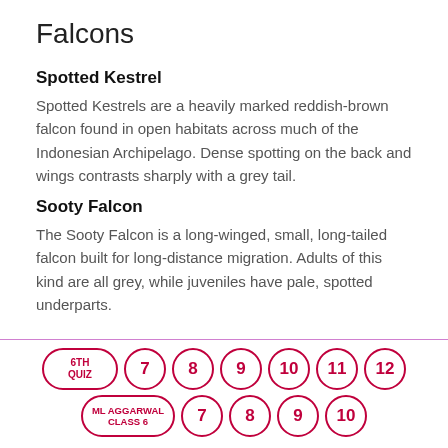Falcons
Spotted Kestrel
Spotted Kestrels are a heavily marked reddish-brown falcon found in open habitats across much of the Indonesian Archipelago. Dense spotting on the back and wings contrasts sharply with a grey tail.
Sooty Falcon
The Sooty Falcon is a long-winged, small, long-tailed falcon built for long-distance migration. Adults of this kind are all grey, while juveniles have pale, spotted underparts.
6TH QUIZ  7  8  9  10  11  12 / ML AGGARWAL CLASS 6  7  8  9  10